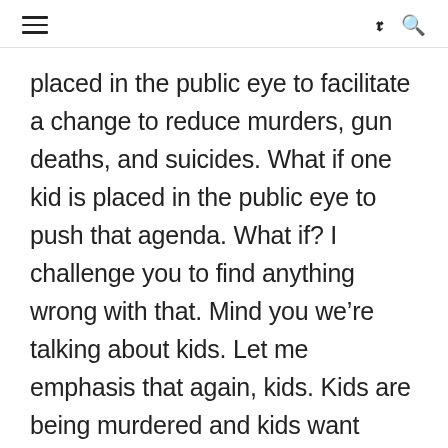≡  𝕏  🔍
placed in the public eye to facilitate a change to reduce murders, gun deaths, and suicides. What if one kid is placed in the public eye to push that agenda. What if? I challenge you to find anything wrong with that. Mind you we're talking about kids. Let me emphasis that again, kids. Kids are being murdered and kids want change. Why? Because their are being shot at in places where they should feel safe. We should all want these kids to